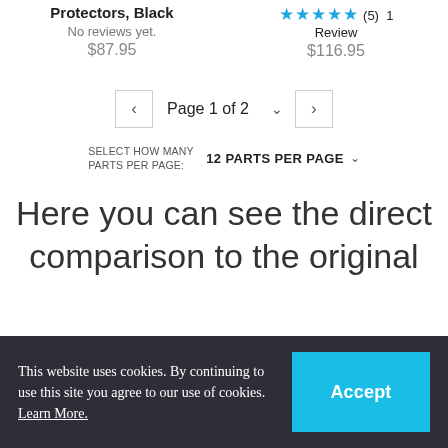Protectors, Black
No reviews yet.
$87.95
★★★★★ (5) 1 Review
$116.95
Page 1 of 2
SELECT HOW MANY PARTS PER PAGE: 12 PARTS PER PAGE
Here you can see the direct comparison to the original
This website uses cookies. By continuing to use this site you agree to our use of cookies. Learn More.